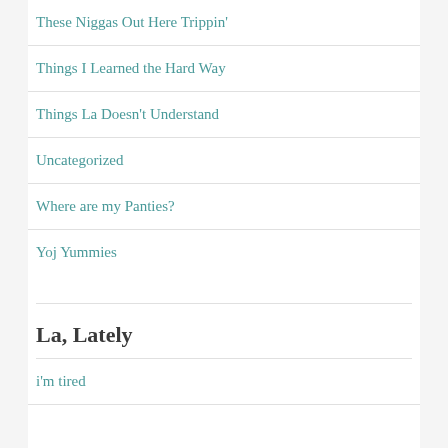These Niggas Out Here Trippin'
Things I Learned the Hard Way
Things La Doesn't Understand
Uncategorized
Where are my Panties?
Yoj Yummies
La, Lately
i'm tired